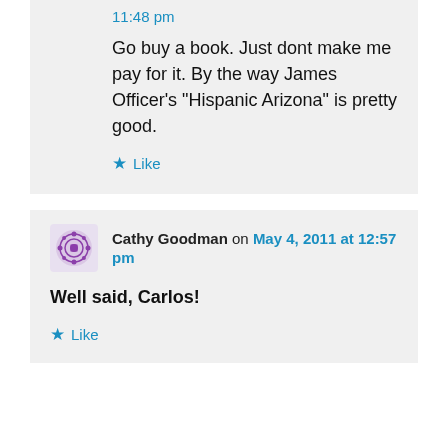11:48 pm
Go buy a book. Just dont make me pay for it. By the way James Officer's “Hispanic Arizona” is pretty good.
★ Like
Cathy Goodman on May 4, 2011 at 12:57 pm
Well said, Carlos!
★ Like